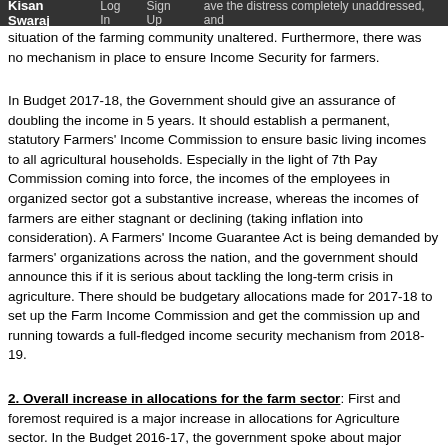Kisan Swaraj | Log In | Sign Up
situation of the farming community unaltered. Furthermore, there was no mechanism in place to ensure Income Security for farmers.
In Budget 2017-18, the Government should give an assurance of doubling the income in 5 years. It should establish a permanent, statutory Farmers' Income Commission to ensure basic living incomes to all agricultural households. Especially in the light of 7th Pay Commission coming into force, the incomes of the employees in organized sector got a substantive increase, whereas the incomes of farmers are either stagnant or declining (taking inflation into consideration). A Farmers' Income Guarantee Act is being demanded by farmers' organizations across the nation, and the government should announce this if it is serious about tackling the long-term crisis in agriculture. There should be budgetary allocations made for 2017-18 to set up the Farm Income Commission and get the commission up and running towards a full-fledged income security mechanism from 2018-19.
2. Overall increase in allocations for the farm sector: First and foremost required is a major increase in allocations for Agriculture sector. In the Budget 2016-17, the government spoke about major increase in allocations for agriculture, but in reality, it was highly inadequate. The major reason for the jump to Rs.35,984 crores under Dept. of Agriculture, Cooperation and Farmers' Welfare (DACFW) came from moving Rs.15,000 crore interest subvention to this head (which was not the practice until Budget 2015-16). As shown in the table below, without including the interest subvention, the budget of DACFW was